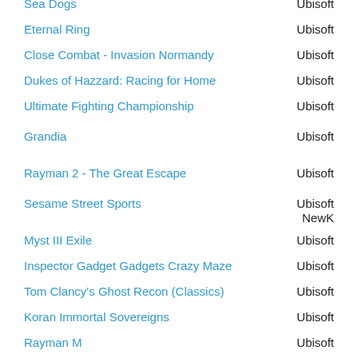Sea Dogs | Ubisoft
Eternal Ring | Ubisoft
Close Combat - Invasion Normandy | Ubisoft
Dukes of Hazzard: Racing for Home | Ubisoft
Ultimate Fighting Championship | Ubisoft
Grandia | Ubisoft
Rayman 2 - The Great Escape | Ubisoft
Sesame Street Sports | Ubisoft / NewK
Myst III Exile | Ubisoft
Inspector Gadget Gadgets Crazy Maze | Ubisoft
Tom Clancy's Ghost Recon (Classics) | Ubisoft
Koran Immortal Sovereigns | Ubisoft
Rayman M | Ubisoft
Sunny Garcia Surfing | Ubisoft